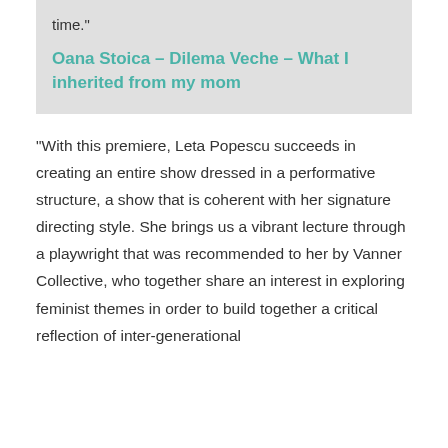time."
Oana Stoica – Dilema Veche – What I inherited from my mom
"With this premiere, Leta Popescu succeeds in creating an entire show dressed in a performative structure, a show that is coherent with her signature directing style. She brings us a vibrant lecture through a playwright that was recommended to her by Vanner Collective, who together share an interest in exploring feminist themes in order to build together a critical reflection of inter-generational